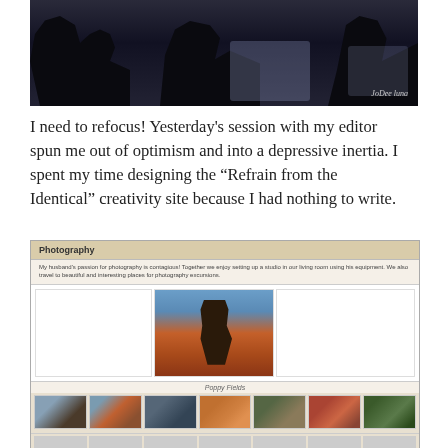[Figure (photo): Dark silhouetted figures in front of computer monitors in a dimly lit room. Photo credit: JoDee luna]
I need to refocus! Yesterday's session with my editor spun me out of optimism and into a depressive inertia. I spent my time designing the “Refrain from the Identical” creativity site because I had nothing to write.
[Figure (screenshot): Screenshot of a Photography website page showing a woman in a poppy field, with text about husband's passion for photography, and thumbnail gallery images below. Caption says 'Poppy Fields'.]